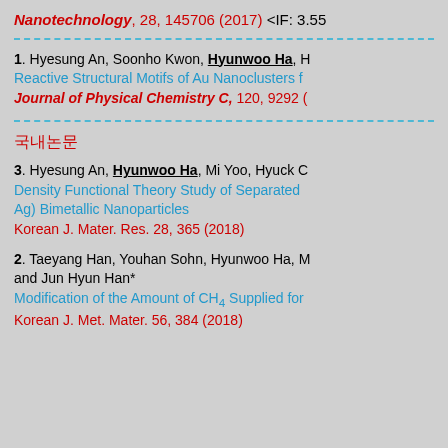Nanotechnology, 28, 145706 (2017) <IF: 3.55
1. Hyesung An, Soonho Kwon, Hyunwoo Ha, H... Reactive Structural Motifs of Au Nanoclusters f... Journal of Physical Chemistry C, 120, 9292 (
국내논문
3. Hyesung An, Hyunwoo Ha, Mi Yoo, Hyuck C... Density Functional Theory Study of Separated Ag) Bimetallic Nanoparticles Korean J. Mater. Res. 28, 365 (2018)
2. Taeyang Han, Youhan Sohn, Hyunwoo Ha, M... and Jun Hyun Han* Modification of the Amount of CH4 Supplied for Korean J. Met. Mater. 56, 384 (2018)